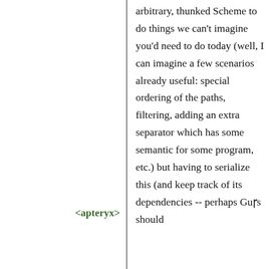arbitrary, thunked Scheme to do things we can't imagine you'd need to do today (well, I can imagine a few scenarios already useful: special ordering of the paths, filtering, adding an extra separator which has some semantic for some program, etc.) but having to serialize this (and keep track of its dependencies -- perhaps Gurs should
<apteryx>